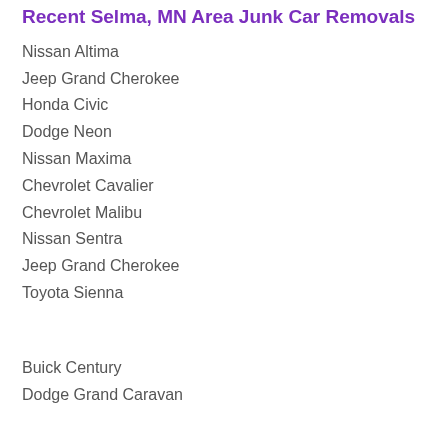Recent Selma, MN Area Junk Car Removals
Nissan Altima
Jeep Grand Cherokee
Honda Civic
Dodge Neon
Nissan Maxima
Chevrolet Cavalier
Chevrolet Malibu
Nissan Sentra
Jeep Grand Cherokee
Toyota Sienna
Buick Century
Dodge Grand Caravan